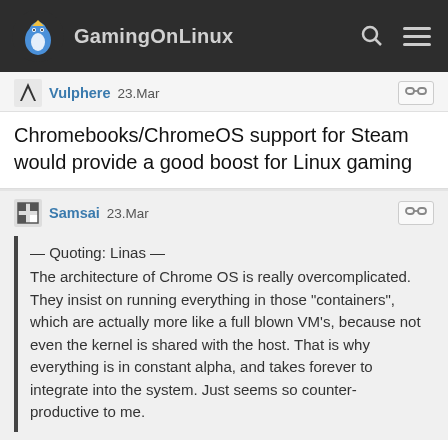GamingOnLinux
Vulphere 23.Mar
Chromebooks/ChromeOS support for Steam would provide a good boost for Linux gaming
Samsai 23.Mar
— Quoting: Linas —
The architecture of Chrome OS is really overcomplicated. They insist on running everything in those "containers", which are actually more like a full blown VM's, because not even the kernel is shared with the host. That is why everything is in constant alpha, and takes forever to integrate into the system. Just seems so counter-productive to me.
Some people have been suggesting it's because this separation would allow them to swap out the system